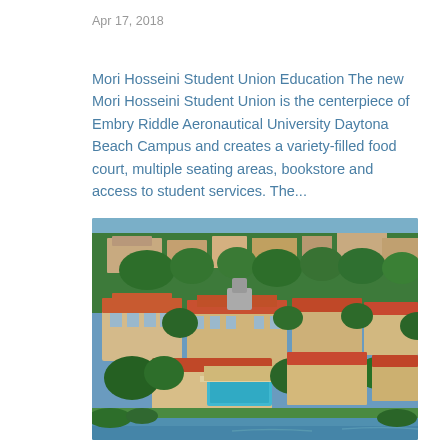Apr 17, 2018
Mori Hosseini Student Union Education The new Mori Hosseini Student Union is the centerpiece of Embry Riddle Aeronautical University Daytona Beach Campus and creates a variety-filled food court, multiple seating areas, bookstore and access to student services. The...
[Figure (photo): Aerial photograph of Embry Riddle Aeronautical University Daytona Beach Campus, showing campus buildings with red/orange tiled roofs surrounded by lush green trees, a swimming pool area visible, and a lake/waterway in the foreground and background.]